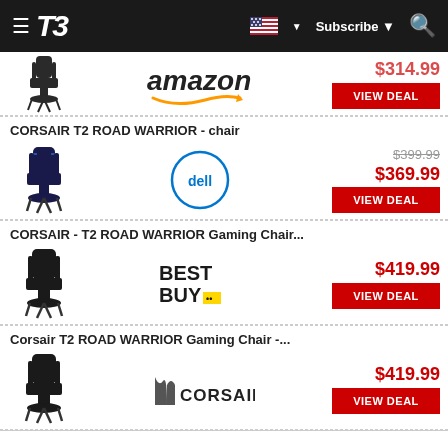T3 | Subscribe | Search
[Figure (screenshot): Amazon deal row - gaming chair partially visible at top, price $314.99 (partially visible), VIEW DEAL button]
CORSAIR T2 ROAD WARRIOR - chair
[Figure (screenshot): Dell deal row - Corsair T2 Road Warrior chair, original price $399.99, sale price $369.99, VIEW DEAL button]
CORSAIR - T2 ROAD WARRIOR Gaming Chair...
[Figure (screenshot): Best Buy deal row - Corsair T2 Road Warrior Gaming Chair, price $419.99, VIEW DEAL button]
Corsair T2 ROAD WARRIOR Gaming Chair -...
[Figure (screenshot): Corsair deal row - Corsair T2 Road Warrior Gaming Chair, price $419.99, VIEW DEAL button]